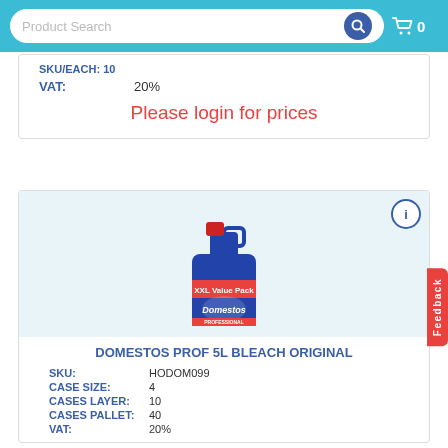Product Search  🛒 0
VAT: 20%
Please login for prices
[Figure (photo): Domestos Professional 5L Bleach Original blue bottle with XXL Value Pack label]
DOMESTOS PROF 5L BLEACH ORIGINAL
| Field | Value |
| --- | --- |
| SKU: | HODOM099 |
| CASE SIZE: | 4 |
| CASES LAYER: | 10 |
| CASES PALLET: | 40 |
| VAT: | 20% |